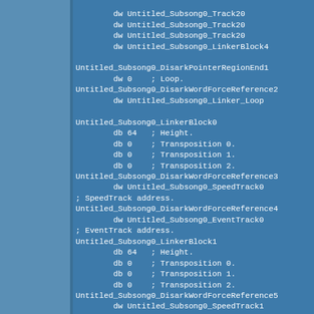[Figure (screenshot): Assembly/disassembly code listing on blue background showing subsong linker block definitions with labels and directives (dw, db) for Untitled_Subsong0 structures]